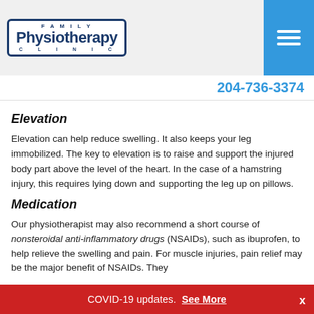[Figure (logo): Family Physiotherapy Clinic logo with blue border and stylized figures]
204-736-3374
Elevation
Elevation can help reduce swelling. It also keeps your leg immobilized. The key to elevation is to raise and support the injured body part above the level of the heart. In the case of a hamstring injury, this requires lying down and supporting the leg up on pillows.
Medication
Our physiotherapist may also recommend a short course of nonsteroidal anti-inflammatory drugs (NSAIDs), such as ibuprofen, to help relieve the swelling and pain. For muscle injuries, pain relief may be the major benefit of NSAIDs. They
COVID-19 updates. See More